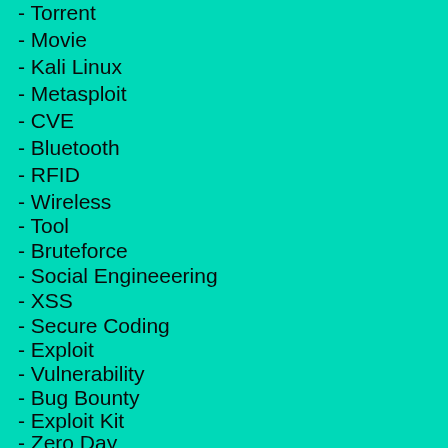- Torrent
- Movie
- Kali Linux
- Metasploit
- CVE
- Bluetooth
- RFID
- Wireless
- Tool
- Bruteforce
- Social Engineeering
- XSS
- Secure Coding
- Exploit
- Vulnerability
- Bug Bounty
- Exploit Kit
- Zero Day
- Patch Tuesday
- Fuzzing
- Framework
- Remote Code Execution